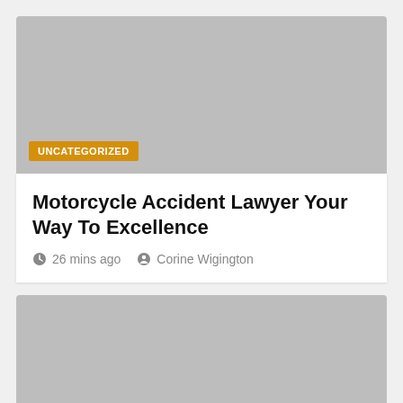[Figure (photo): Gray placeholder image with UNCATEGORIZED badge at bottom left]
Motorcycle Accident Lawyer Your Way To Excellence
26 mins ago  Corine Wigington
[Figure (photo): Gray placeholder image with UNCATEGORIZED badge at bottom left and scroll-to-top blue button at bottom right]